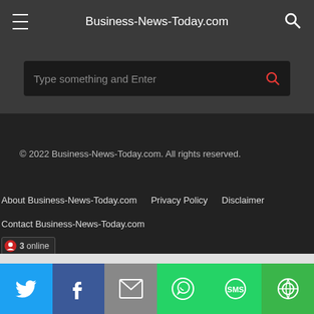Business-News-Today.com
[Figure (screenshot): Search bar with placeholder text 'Type something and Enter' and a red search icon]
© 2022 Business-News-Today.com. All rights reserved.
About Business-News-Today.com
Privacy Policy
Disclaimer
Contact Business-News-Today.com
[Figure (infographic): Online visitor badge showing 3 online users]
[Figure (screenshot): Social share bar with Twitter, Facebook, Email, WhatsApp, SMS, and More buttons]